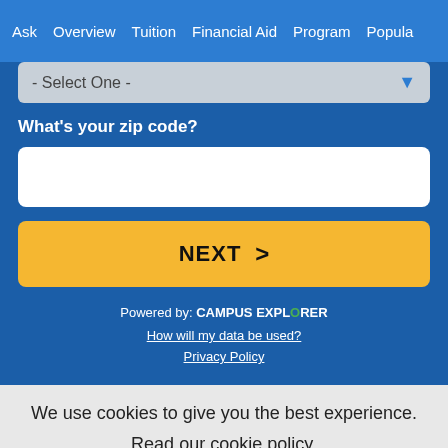Ask  Overview  Tuition  Financial Aid  Program  Popula
- Select One -
What's your zip code?
[Figure (screenshot): White zip code input text field]
NEXT
Powered by: CAMPUS EXPLORER
How will my data be used?
Privacy Policy
We use cookies to give you the best experience.
Read our cookie policy.
Agree